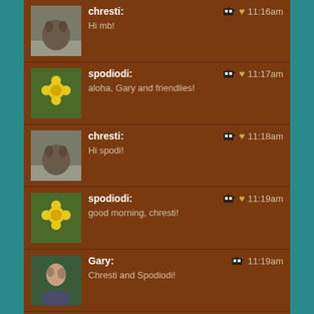chresti: 11:16am — Hi mb!
spodiodi: 11:17am — aloha, Gary and friendlies!
chresti: 11:18am — Hi spodi!
spodiodi: 11:19am — good morning, chresti!
Gary: 11:19am — Chresti and Spodiodi!
The Butterman: 11:20am — Thanks Hyde! No worries. No problem. You're in Jamaica! Metaphorically speaking.
Mike W: 11:27am — two and a half hours in and circuits are still firing. Pat Kelly said "sweet like candy" at the beginning and just now Horace Andy appears, right on time.
The Butterman: 11:27am